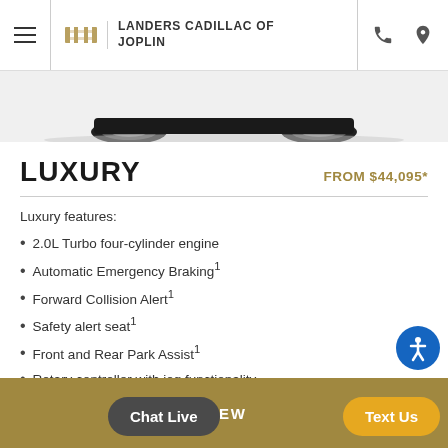LANDERS CADILLAC OF JOPLIN
[Figure (photo): Bottom portion of a Cadillac vehicle showing wheels and undercarriage against white background]
LUXURY
FROM $44,095*
Luxury features:
2.0L Turbo four-cylinder engine
Automatic Emergency Braking¹
Forward Collision Alert¹
Safety alert seat¹
Front and Rear Park Assist¹
Rotary controller with jog functionality
VIEW
Chat Live
Text Us